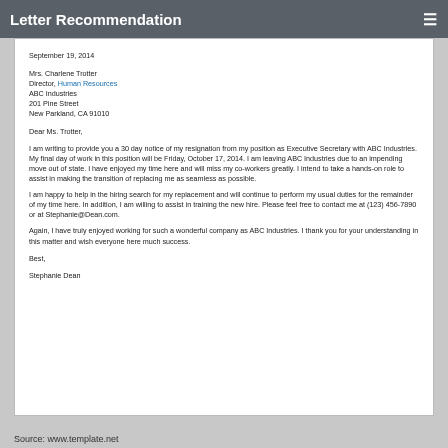Letter Recommendation
September 19, 2014
Mrs. Charlene Trotter
Director, Human Resources
ABC Industries
201 Pine Street
New Parkland, CA 91010
Dear Ms. Trotter,
I am writing to provide you a 30 day notice of my resignation from my position as Executive Secretary with ABC Industries. My final day of work in this position will be Friday, October 17, 2014. I am leaving ABC Industries due to an impending move out of state. I have enjoyed my time here and will miss my co-workers greatly. I intend to take a hands-on role to assist in making the transition of replacing me as seamless as possible.
I am happy to help in the hiring search for my replacement and will continue to perform my usual duties for the remainder of my time here. In addition, I am willing to assist in training the new hire. Please feel free to contact me at (123) 456-7890 or at Stephanie@Dean.com.
Again, I have truly enjoyed working for such a wonderful company as ABC Industries. I thank you for your understanding in this matter and wish everyone here much success.
Best,
Stephanie Dean
Source: www.template.net